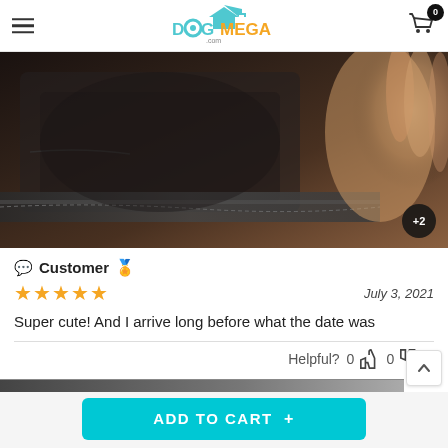DOGMEGA.COM
[Figure (photo): Close-up photo of a dark grey/black dog harness fabric with stitching, with a human hand visible in the upper right. A '+2' badge overlay appears in the lower right corner.]
Customer (verified badge) — July 3, 2021 — 5 stars — Super cute! And I arrive long before what the date was — Helpful? 0 👍 0 👎